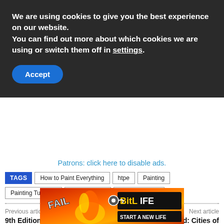We are using cookies to give you the best experience on our website.
You can find out more about which cookies we are using or switch them off in settings.
Accept
Patrons: click here to disable ads.
TAGS  How to Paint Everything  htpe  Painting
Painting Tutorials  Salamanders  Space Marines
Previous article
9th Edition Faction Focus: Death Guard
Next article
Getting Started: Cities of Sigmar
[Figure (screenshot): Advertisement banner with BitLife game ad showing cartoon character with fire, text FAIL and START A NEW LIFE]